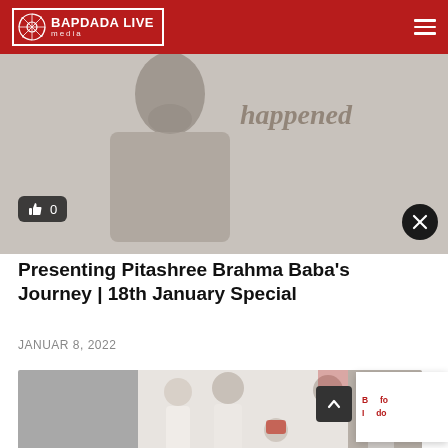BAPDADA LIVE media
[Figure (photo): Black and white photo of a man with text 'happened' partially visible, with a like button showing 0 and a close (x) button overlay]
Presenting Pitashree Brahma Baba's Journey | 18th January Special
JANUAR 8, 2022
[Figure (photo): Color photo of people dressed in white, appears to be a spiritual/religious gathering]